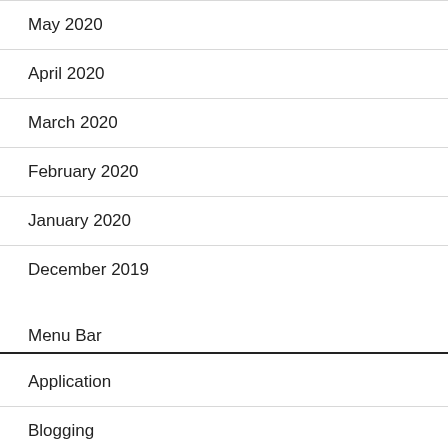May 2020
April 2020
March 2020
February 2020
January 2020
December 2019
Menu Bar
Application
Blogging